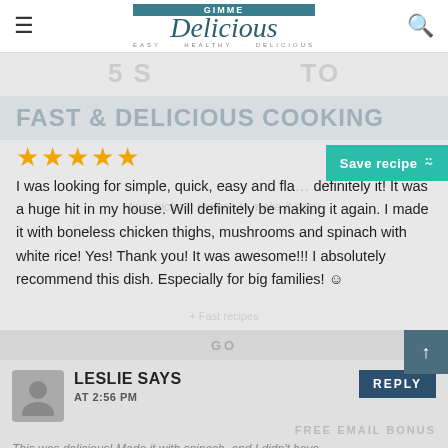Gimme Delicious — EASY · HEALTHY · DELICIOUS
5 S... TO FAST & DELICIOUS COOKING
★★★★★
I was looking for simple, quick, easy and fla... definitely it! It was a huge hit in my house. Will definitely be making it again. I made it with boneless chicken thighs, mushrooms and spinach with white rice! Yes! Thank you! It was awesome!!! I absolutely recommend this dish. Especially for big families! ☺
LESLIE SAYS
AT 2:56 PM
This was delicious! Made it with spinach, and I didn't have